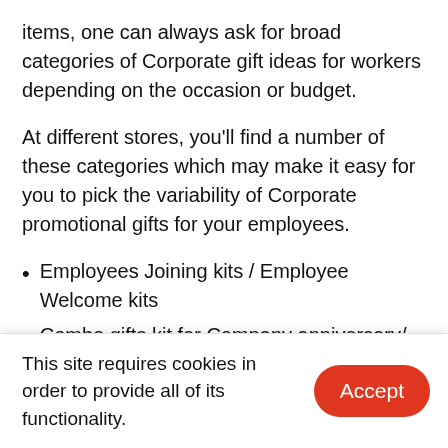items, one can always ask for broad categories of Corporate gift ideas for workers depending on the occasion or budget.
At different stores, you'll find a number of these categories which may make it easy for you to pick the variability of Corporate promotional gifts for your employees.
Employees Joining kits / Employee Welcome kits
Combo gifts kit for Company anniversary/ Sales event/ New Year/ Diwali gift
Diaries/Notepads combo gifts: Diaries are mostly the primary choice when it involves New Year corporate gift ideas for workers in India.
Festive Treat have a lovely collection of
This site requires cookies in order to provide all of its functionality.
computer screens.